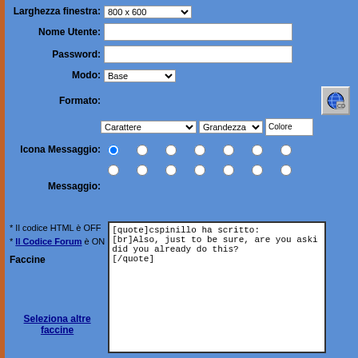Larghezza finestra: 800 x 600 [dropdown]
Nome Utente: [text input]
Password: [text input]
Modo: Base [dropdown]
Formato: [globe icon]
Carattere [dropdown] Grandezza [dropdown] Colore [input]
Icona Messaggio: [radio buttons rows]
Messaggio:
* Il codice HTML è OFF
* Il Codice Forum è ON
Faccine
[Figure (screenshot): Textarea with forum post content: [quote]cspinillo ha scritto:
[br]Also, just to be sure, are you aski... did you already do this?
[/quote]]
Seleziona altre faccine